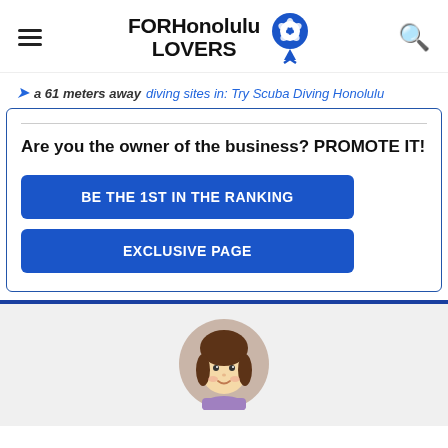FOR Honolulu LOVERS
a 61 meters away diving sites in: Try Scuba Diving Honolulu
Are you the owner of the business? PROMOTE IT!
BE THE 1ST IN THE RANKING
EXCLUSIVE PAGE
[Figure (illustration): Circular avatar of a cartoon woman with brown hair and a purple/lavender top, on a light gray background section]